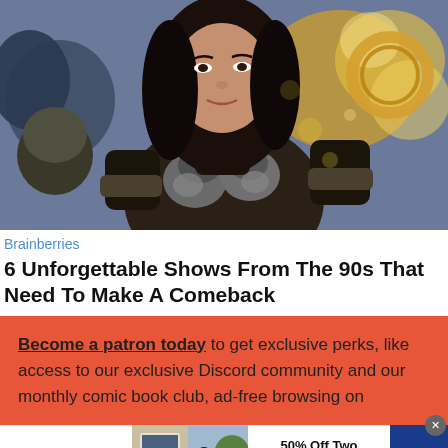[Figure (photo): Woman in warrior/gladiator armor holding a circular weapon (chakram), with fire/bokeh background. Appears to be a still from Xena: Warrior Princess TV show.]
Brainberries
6 Unforgettable Shows From The 90s That Need To Make A Comeback
Become a patron today to get exclusive perks, like access to our exclusive Discord community and our monthly comic book club, ad-free browsing on
[Figure (photo): SmartPak advertisement banner: SmartPak logo on left, photos of horse and person in center, '50% Off Two Months of ColiCare' offer with CODE: COLICARE10, and 'Shop Now' blue button on right.]